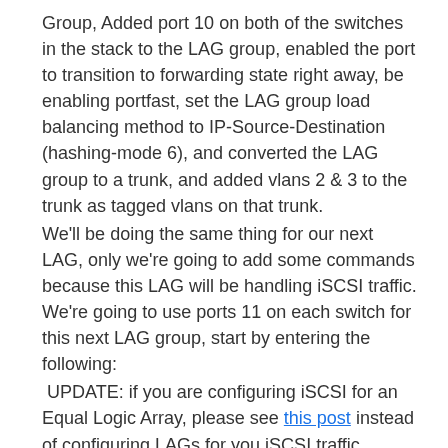Group, Added port 10 on both of the switches in the stack to the LAG group, enabled the port to transition to forwarding state right away, be enabling portfast, set the LAG group load balancing method to IP-Source-Destination (hashing-mode 6), and converted the LAG group to a trunk, and added vlans 2 & 3 to the trunk as tagged vlans on that trunk.
We'll be doing the same thing for our next LAG, only we're going to add some commands because this LAG will be handling iSCSI traffic. We're going to use ports 11 on each switch for this next LAG group, start by entering the following:
UPDATE: if you are configuring iSCSI for an Equal Logic Array, please see this post instead of configuring LAGs for you iSCSI traffic.